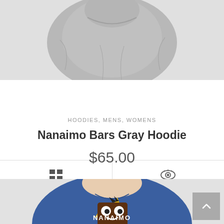[Figure (photo): Gray hoodie product photo, cropped to show torso and shoulders on a light gray background]
[Figure (screenshot): Product action bar with grid/list view icon on the left and eye/quick-view icon on the right]
HOODIES, MENS, WOMENS
Nanaimo Bars Gray Hoodie
$65.00
[Figure (photo): Child wearing a blue t-shirt with the Nanaimo Bars logo — a cartoon chocolate bar character with eyes — and text NANAIMO at the bottom, on a light gray background]